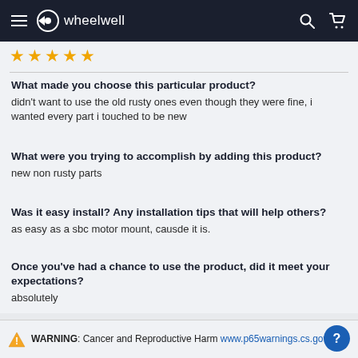wheelwell
★★★★★
What made you choose this particular product?
didn't want to use the old rusty ones even though they were fine, i wanted every part i touched to be new
What were you trying to accomplish by adding this product?
new non rusty parts
Was it easy install? Any installation tips that will help others?
as easy as a sbc motor mount, causde it is.
Once you've had a chance to use the product, did it meet your expectations?
absolutely
VIEW ON JACOB'S BUILD
WARNING: Cancer and Reproductive Harm www.p65warnings.cs.gov